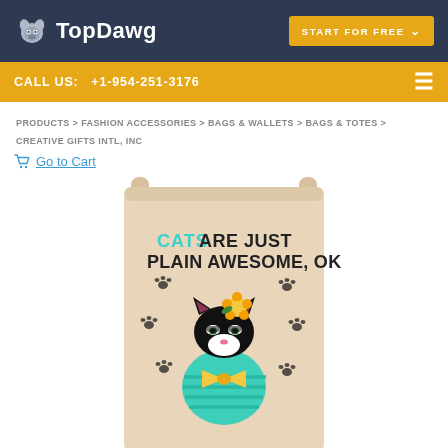TopDawg | START FOR FREE
CALL US: +1-954-251-3176
PRODUCTS > FASHION ACCESSORIES > BAGS & WALLETS > BAGS & TOTES > CREATIVE GIFTS INTL, INC
Go to Cart
[Figure (photo): A beige/tan drawstring bag with straps showing a cartoon tuxedo cat wearing a bow tie and flower, with paw prints and the text 'CATS ARE JUST PLAIN AWESOME, OK']